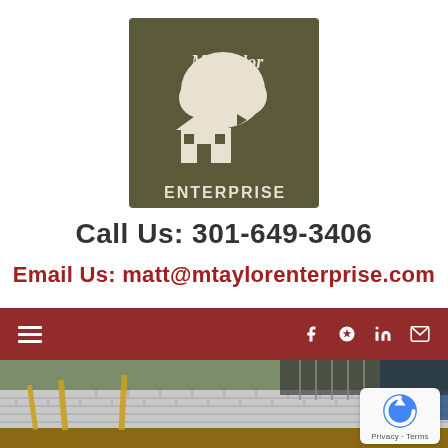[Figure (logo): M. Taylor Enterprise logo — olive/dark green square background with white silhouette of a house and tree, text 'M. Taylor' in script at top and 'ENTERPRISE' in block letters at bottom]
Call Us: 301-649-3406
Email Us: matt@mtaylorenterprise.com
[Figure (other): Dark red navigation bar with hamburger menu icon on the left and social icons (Facebook, Yelp, LinkedIn, Email) on the right]
[Figure (photo): Construction photo showing a cinder block retaining wall or foundation wall under construction with wooden framing stakes and blue tarp visible]
[Figure (other): Google reCAPTCHA badge in bottom right corner showing the reCAPTCHA logo with Privacy and Terms text]